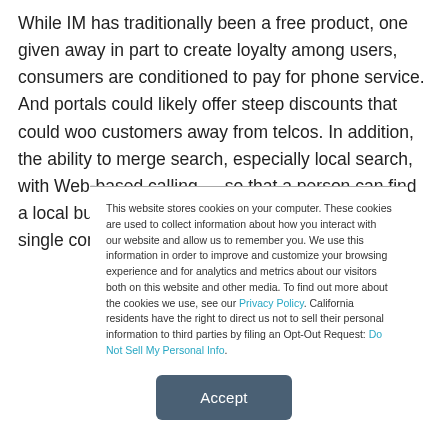While IM has traditionally been a free product, one given away in part to create loyalty among users, consumers are conditioned to pay for phone service. And portals could likely offer steep discounts that could woo customers away from telcos. In addition, the ability to merge search, especially local search, with Web-based calling — so that a person can find a local business and place a call to them from a single computer
This website stores cookies on your computer. These cookies are used to collect information about how you interact with our website and allow us to remember you. We use this information in order to improve and customize your browsing experience and for analytics and metrics about our visitors both on this website and other media. To find out more about the cookies we use, see our Privacy Policy. California residents have the right to direct us not to sell their personal information to third parties by filing an Opt-Out Request: Do Not Sell My Personal Info.
Accept